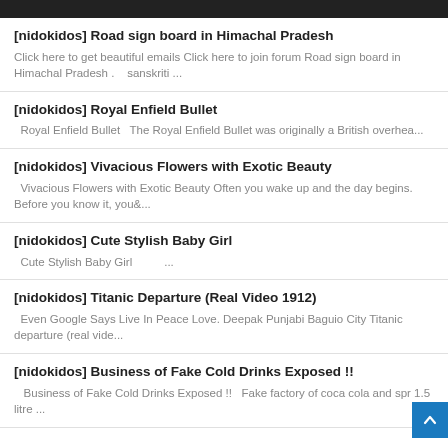[nidokidos] Road sign board in Himachal Pradesh
Click here to get beautiful emails Click here to join forum Road sign board in Himachal Pradesh . sanskriti ...
[nidokidos] Royal Enfield Bullet
Royal Enfield Bullet   The Royal Enfield Bullet was originally a British overhea...
[nidokidos] Vivacious Flowers with Exotic Beauty
Vivacious Flowers with Exotic Beauty Often you wake up and the day begins. Before you know it, you&...
[nidokidos] Cute Stylish Baby Girl
Cute Stylish Baby Girl          ...
[nidokidos] Titanic Departure (Real Video 1912)
Even Google Says Live In Peace Love. Deepak Punjabi Baguio City Titanic departure (real vide...
[nidokidos] Business of Fake Cold Drinks Exposed !!
Business of Fake Cold Drinks Exposed !!   Fake factory of coca cola and spr 1.5 litre ...